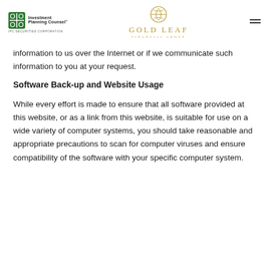Investment Planning Counsel® IPC Securities Corporation | Gold Leaf Financial Group
information to us over the Internet or if we communicate such information to you at your request.
Software Back-up and Website Usage
While every effort is made to ensure that all software provided at this website, or as a link from this website, is suitable for use on a wide variety of computer systems, you should take reasonable and appropriate precautions to scan for computer viruses and ensure compatibility of the software with your specific computer system.